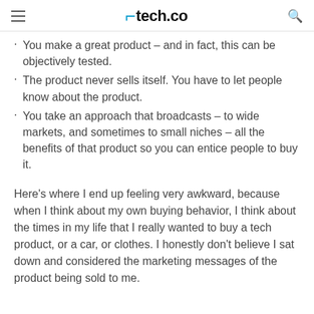tech.co
You make a great product – and in fact, this can be objectively tested.
The product never sells itself. You have to let people know about the product.
You take an approach that broadcasts – to wide markets, and sometimes to small niches – all the benefits of that product so you can entice people to buy it.
Here's where I end up feeling very awkward, because when I think about my own buying behavior, I think about the times in my life that I really wanted to buy a tech product, or a car, or clothes. I honestly don't believe I sat down and considered the marketing messages of the product being sold to me.